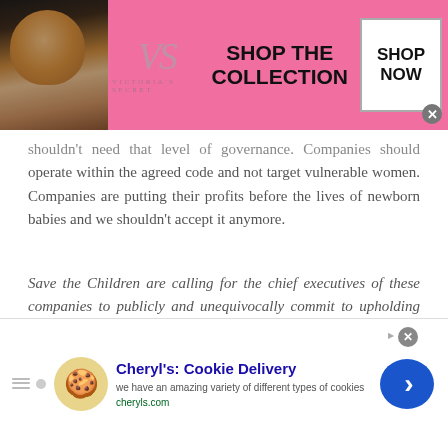[Figure (screenshot): Victoria's Secret advertisement banner with model photo, VS logo, 'SHOP THE COLLECTION' text, and 'SHOP NOW' button on pink background]
shouldn't need that level of governance. Companies should operate within the agreed code and not target vulnerable women. Companies are putting their profits before the lives of newborn babies and we shouldn't accept it anymore.
Save the Children are calling for the chief executives of these companies to publicly and unequivocally commit to upholding the World Health Organisation's International Code of Marketing of Breast-milk Substitutes. For more information visit www.savethechildren.org.uk
[Figure (screenshot): Cheryl's Cookie Delivery advertisement banner with cookie icon, title 'Cheryl's: Cookie Delivery', description 'we have an amazing variety of different types of cookies', URL 'cheryls.com', and blue circular arrow button]